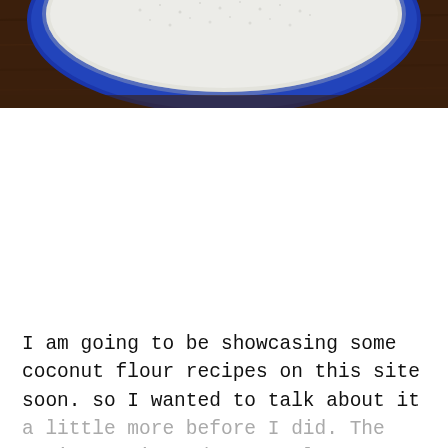[Figure (photo): Top portion of a blue plate or bowl filled with white coconut flour, photographed from above on a dark wooden surface. Only the top rim and contents of the plate are visible, cropped at the bottom.]
I am going to be showcasing some coconut flour recipes on this site soon. so I wanted to talk about it a little more before I did. The pro's, con's and personal experience.